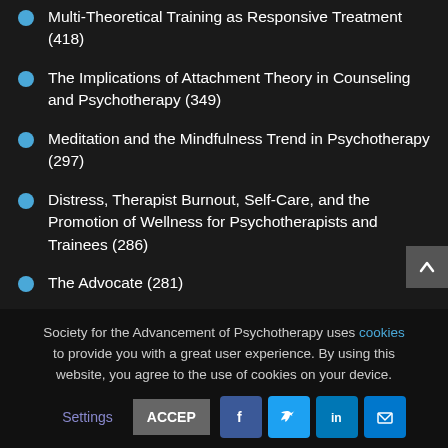Multi-Theoretical Training as Responsive Treatment (418)
The Implications of Attachment Theory in Counseling and Psychotherapy (349)
Meditation and the Mindfulness Trend in Psychotherapy (297)
Distress, Therapist Burnout, Self-Care, and the Promotion of Wellness for Psychotherapists and Trainees (286)
The Advocate (281)
A Flash of Academic Brilliance by a Late Bloomer (243)
Society for the Advancement of Psychotherapy uses cookies to provide you with a great user experience. By using this website, you agree to the use of cookies on your device.
Settings   ACCEPT